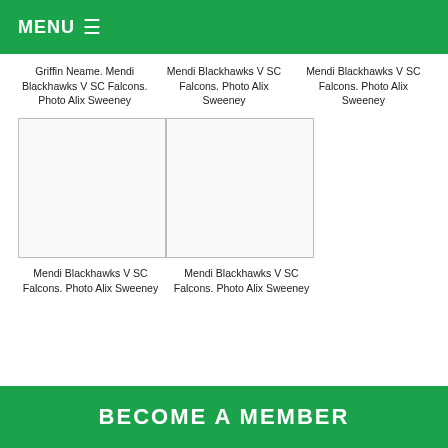MENU ≡
Griffin Neame. Mendi Blackhawks V SC Falcons. Photo Alix Sweeney
Mendi Blackhawks V SC Falcons. Photo Alix Sweeney
Mendi Blackhawks V SC Falcons. Photo Alix Sweeney
[Figure (photo): Photo placeholder box (left) - Mendi Blackhawks V SC Falcons]
[Figure (photo): Photo placeholder box (right) - Mendi Blackhawks V SC Falcons]
Mendi Blackhawks V SC Falcons. Photo Alix Sweeney
Mendi Blackhawks V SC Falcons. Photo Alix Sweeney
BECOME A MEMBER